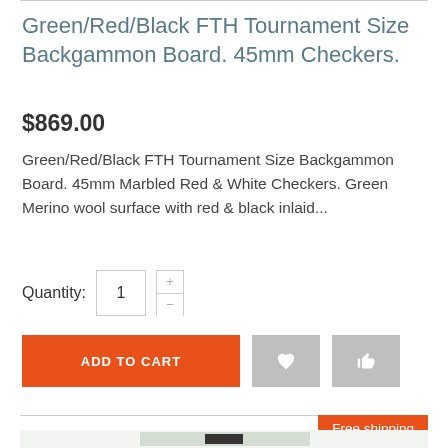Green/Red/Black FTH Tournament Size Backgammon Board. 45mm Checkers.
$869.00
Green/Red/Black FTH Tournament Size Backgammon Board. 45mm Marbled Red & White Checkers. Green Merino wool surface with red & black inlaid...
Quantity: 1
[Figure (screenshot): E-commerce product page with Add to Cart button (orange), wishlist heart button (grey), share/thumbs button (grey), and a Free shipping badge (orange) at the bottom with partial product image.]